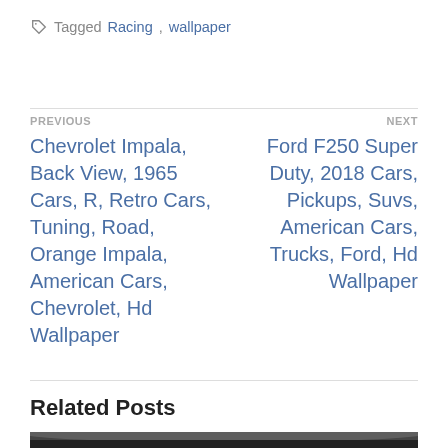Tagged Racing, wallpaper
PREVIOUS
Chevrolet Impala, Back View, 1965 Cars, R, Retro Cars, Tuning, Road, Orange Impala, American Cars, Chevrolet, Hd Wallpaper
NEXT
Ford F250 Super Duty, 2018 Cars, Pickups, Suvs, American Cars, Trucks, Ford, Hd Wallpaper
Related Posts
[Figure (photo): Dark curved car roof detail, close-up photo]